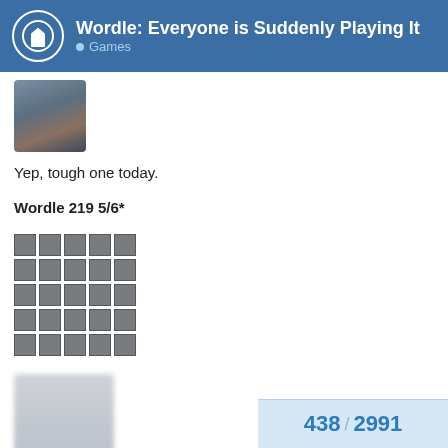Wordle: Everyone is Suddenly Playing It — Games
[Figure (photo): User avatar photo, partially visible, showing a person in a dark suit]
Yep, tough one today.
Wordle 219 5/6*
[Figure (other): Wordle result grid showing 5 rows of 5 gray tiles]
[Figure (other): Blurred/redacted image block]
438 / 2991